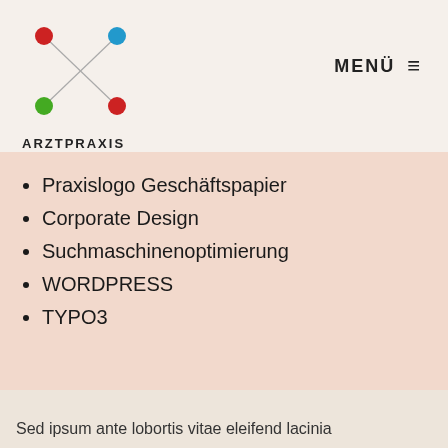[Figure (logo): Arztpraxis im Internet logo: colored dots (red, blue, green, red) connected by crossing lines forming an X shape, with text ARZTPRAXIS and IM INTERNET below]
MENÜ ≡
Praxislogo Geschäftspapier
Corporate Design
Suchmaschinenoptimierung
WORDPRESS
TYPO3
Sed ipsum ante lobortis vitae eleifend lacinia